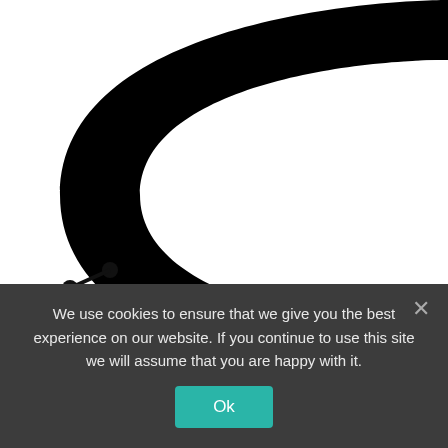[Figure (logo): Large partial letter C logo in black, cropped at top and right edges]
[Figure (illustration): Share icon (network share symbol) in black]
Image credits: ameinavan
Here’s the story in her own words: “So I came across the idea of tiny living and van
We use cookies to ensure that we give you the best experience on our website. If you continue to use this site we will assume that you are happy with it.